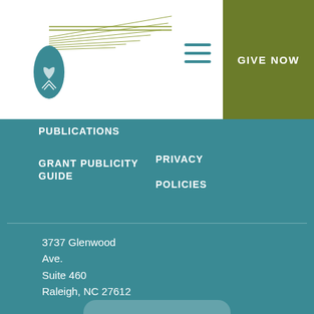[Figure (logo): Organization logo with pine cone and stylized pine needle lines in teal and olive green]
GIVE NOW
PUBLICATIONS
GRANT PUBLICITY GUIDE
PRIVACY POLICIES
3737 Glenwood Ave.
Suite 460
Raleigh, NC 27612
919-828-4387
800-532-1349
919-827-0749
(fax)